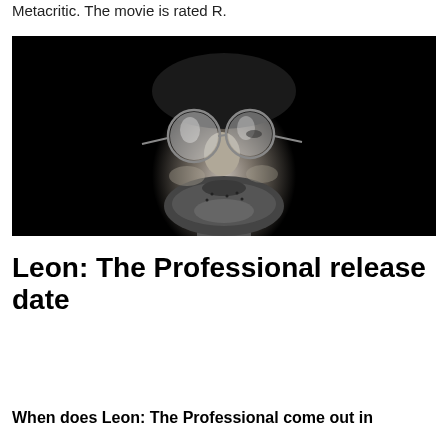Metacritic. The movie is rated R.
[Figure (photo): Black and white close-up photograph of a man looking upward wearing round reflective sunglasses, with a beard, against a dark background — resembling a stylized movie promotional image for Leon: The Professional.]
Leon: The Professional release date
When does Leon: The Professional come out in